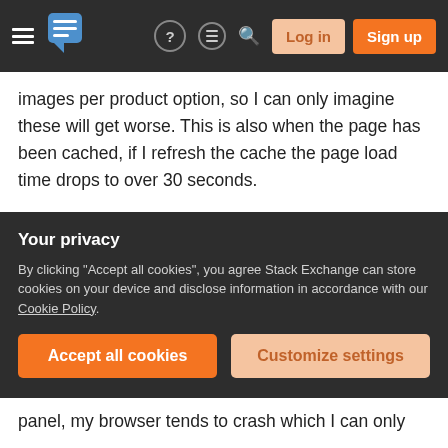Stack Exchange navigation bar with Log in and Sign up buttons
images per product option, so I can only imagine these will get worse. This is also when the page has been cached, if I refresh the cache the page load time drops to over 30 seconds.
As a side note, I have also changed the way Magento fetches the product images when an option is changed, by default it performs an ajax call to get the data, but this was taking around 10 seconds to complete. So I rewrote the javascript to fetch the image urls from the large pool of javascript
Your privacy
By clicking "Accept all cookies", you agree Stack Exchange can store cookies on your device and disclose information in accordance with our Cookie Policy.
Accept all cookies
Customize settings
panel, my browser tends to crash which I can only